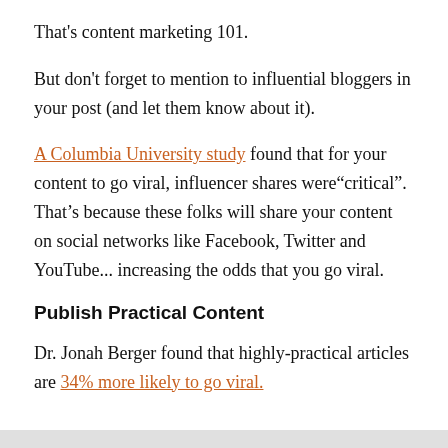That's content marketing 101.
But don't forget to mention to influential bloggers in your post (and let them know about it).
A Columbia University study found that for your content to go viral, influencer shares were“critical”. That’s because these folks will share your content on social networks like Facebook, Twitter and YouTube... increasing the odds that you go viral.
Publish Practical Content
Dr. Jonah Berger found that highly-practical articles are 34% more likely to go viral.